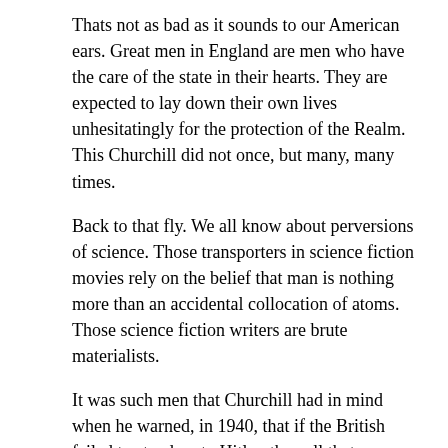Thats not as bad as it sounds to our American ears. Great men in England are men who have the care of the state in their hearts. They are expected to lay down their own lives unhesitatingly for the protection of the Realm. This Churchill did not once, but many, many times.
Back to that fly. We all know about perversions of science. Those transporters in science fiction movies rely on the belief that man is nothing more than an accidental collocation of atoms. Those science fiction writers are brute materialists.
It was such men that Churchill had in mind when he warned, in 1940, that if the British failed to stand up to Hitler, then all that we have known and loved would sink into the abyss of anew dark age, made more sinister and perhaps more protracted by the lights of perverted science.
We see just such perverted science today when people argue that we can cure all disease by scavenging the bodies of embryonic human beings for their stem cells. We see the perversion of science when people like Princetons unethical bioethicist Peter Singer argue for killing handicapped children up to one year of age.